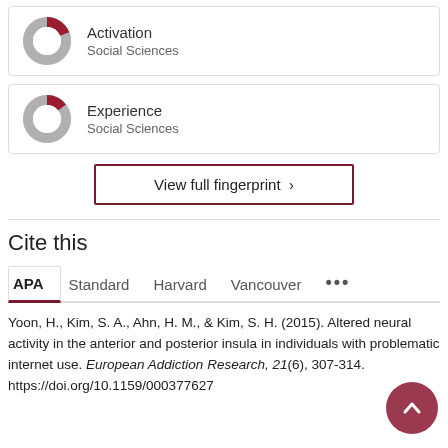[Figure (donut-chart): Donut chart showing partial fill in red/dark red for Activation, Social Sciences]
Activation
Social Sciences
[Figure (donut-chart): Donut chart showing partial fill in red/dark red for Experience, Social Sciences]
Experience
Social Sciences
View full fingerprint >
Cite this
APA   Standard   Harvard   Vancouver   ...
Yoon, H., Kim, S. A., Ahn, H. M., & Kim, S. H. (2015). Altered neural activity in the anterior and posterior insula in individuals with problematic internet use. European Addiction Research, 21(6), 307-314. https://doi.org/10.1159/000377627